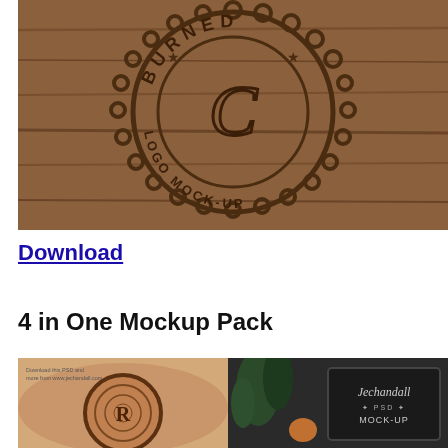[Figure (photo): Burned logo mock-up on wood planks background — circular badge design with 'BURNED LOGO MOCK-UP' text and stylized C letter, burned/engraved into wooden surface]
Download
4 in One Mockup Pack
[Figure (photo): Two mockup images side by side: left shows a burned logo on a wood slice/stump with small text 'Download this PSD and more from www.jechandall.com'; right shows a dark framed sign with 'Jechandall PSD MOCK-UP' script text, with a plant in foreground]